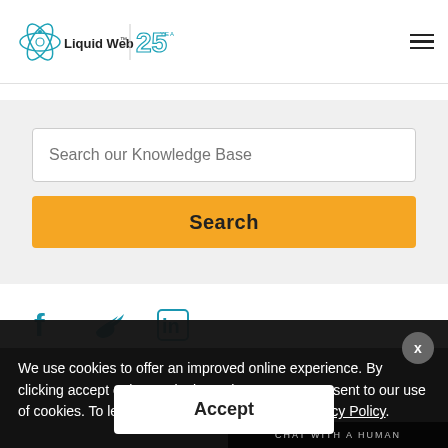[Figure (logo): Liquid Web logo with 25 Years anniversary badge]
Search our Knowledge Base
Search
[Figure (illustration): Social media icons: Facebook, Twitter, LinkedIn in teal/blue]
We use cookies to offer an improved online experience. By clicking accept or by continuing to browse, you consent to our use of cookies. To learn more, please refer to our Privacy Policy.
Accept
CHAT WITH A HUMAN